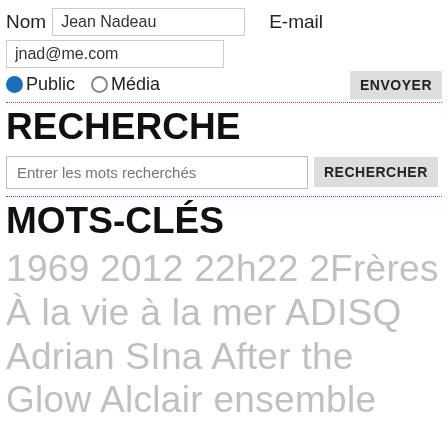Nom  Jean Nadeau   E-mail
jnad@me.com
● Public  ○ Média   ENVOYER
RECHERCHE
Entrer les mots recherchés   RECHERCHER
MOTS-CLÉS
1969 2012 22h22 2Frères À la vie à la mer ADISQ Adrian SIna After the Glow Alclair ensemble Album